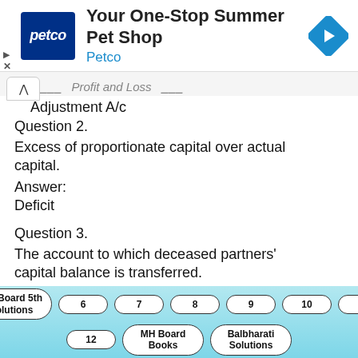[Figure (screenshot): Petco advertisement banner: 'Your One-Stop Summer Pet Shop' with Petco logo and navigation arrow icon]
Adjustment A/c
Question 2.
Excess of proportionate capital over actual capital.
Answer:
Deficit
Question 3.
The account to which deceased partners' capital balance is transferred.
MH Board 5th Solutions  6  7  8  9  10  11  12  MH Board Books  Balbharati Solutions